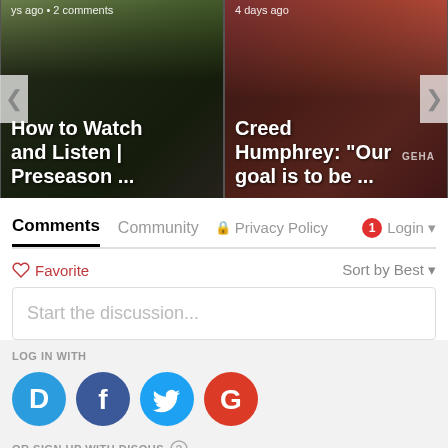[Figure (screenshot): Two sports news article thumbnails side by side with navigation arrows. Left card: football game photo with text 'ys ago • 2 comments' and title 'How to Watch and Listen | Preseason ...'. Right card: player in red jersey with text '4 days ago' and title 'Creed Humphrey: "Our goal is to be ...']
Comments	Community	🔒 Privacy Policy	1 Login
♡ Favorite	Sort by Best
Start the discussion...
LOG IN WITH
[Figure (logo): Social login icons: Disqus (blue D), Facebook (dark blue f), Twitter (light blue bird), Google (red G)]
OR SIGN UP WITH DISQUS ?
Name